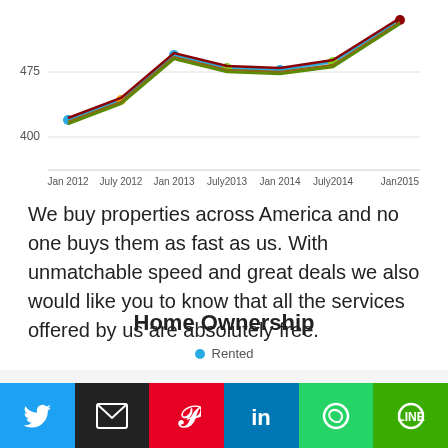[Figure (line-chart): ]
We buy properties across America and no one buys them as fast as us. With unmatchable speed and great deals we also would like you to know that all the services offered by us are absolutely free.
Home Ownership
• Rented
This website uses cookies.
[Figure (infographic): Social sharing buttons: Twitter, Email, Pinterest, LinkedIn, WhatsApp, Line]